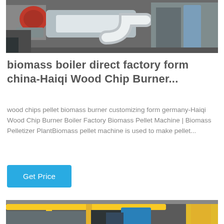[Figure (photo): Industrial boiler equipment with red burner component and silver metal pipes/ducts in a factory setting.]
biomass boiler direct factory form china-Haiqi Wood Chip Burner...
wood chips pellet biomass burner customizing form germany-Haiqi Wood Chip Burner Boiler Factory Biomass Pellet Machine | Biomass Pelletizer PlantBiomass pellet machine is used to make pellet...
Get Price
[Figure (photo): Industrial boiler plant interior showing yellow metal pipes/structures and blue equipment.]